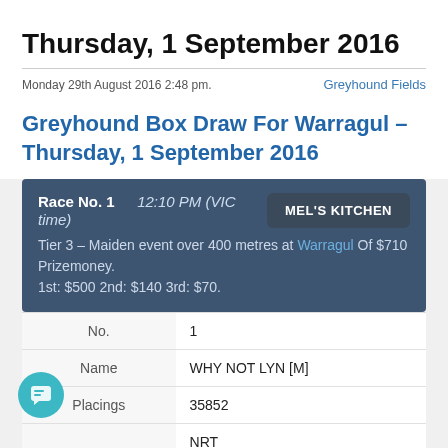Thursday, 1 September 2016
Monday 29th August 2016 2:48 pm.
Greyhound Fields
Greyhound Box Draw For Warragul – Thursday, 1 September 2016
Race No. 1   12:10 PM (VIC time)
Tier 3 – Maiden event over 400 metres at Warragul Of $710 Prizemoney.
1st: $500 2nd: $140 3rd: $70.
| No. | 1 |
| --- | --- |
| Name | WHY NOT LYN [M] |
| Placings | 35852 |
|  | NRT |